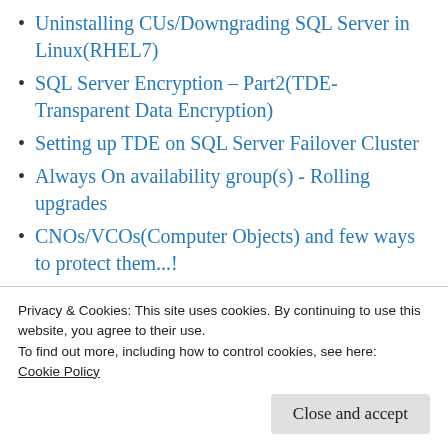Uninstalling CUs/Downgrading SQL Server in Linux(RHEL7)
SQL Server Encryption – Part2(TDE-Transparent Data Encryption)
Setting up TDE on SQL Server Failover Cluster
Always On availability group(s) - Rolling upgrades
CNOs/VCOs(Computer Objects) and few ways to protect them...!
The EXECUTE permission was denied on the
Privacy & Cookies: This site uses cookies. By continuing to use this website, you agree to their use.
To find out more, including how to control cookies, see here: Cookie Policy
Close and accept